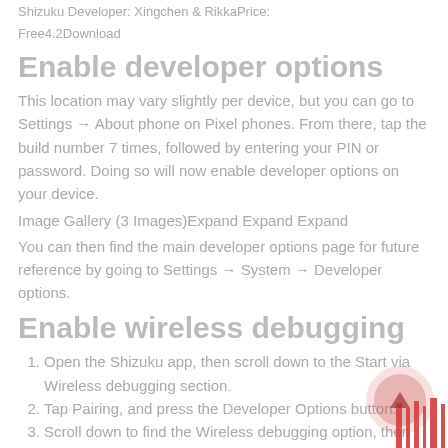Shizuku Developer: Xingchen & RikkaPrice:
Free4.2Download
Enable developer options
This location may vary slightly per device, but you can go to Settings → About phone on Pixel phones. From there, tap the build number 7 times, followed by entering your PIN or password. Doing so will now enable developer options on your device.
Image Gallery (3 Images)Expand Expand Expand
You can then find the main developer options page for future reference by going to Settings → System → Developer options.
Enable wireless debugging
Open the Shizuku app, then scroll down to the Start via Wireless debugging section.
Tap Pairing, and press the Developer Options button.
Scroll down to find the Wireless debugging option, then tap it once to move onto the next screen.